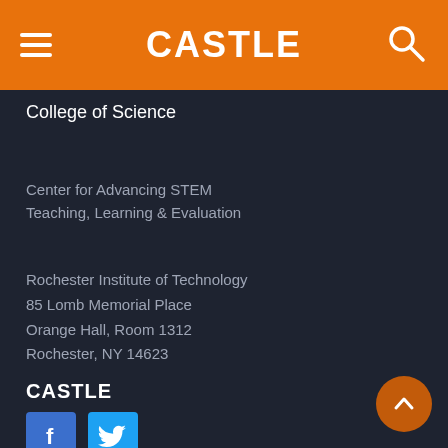CASTLE
College of Science
Center for Advancing STEM Teaching, Learning & Evaluation
Rochester Institute of Technology
85 Lomb Memorial Place
Orange Hall, Room 1312
Rochester, NY 14623
CASTLE
[Figure (logo): Facebook and Twitter social media icons]
[Figure (other): Scroll to top button with upward chevron arrow]